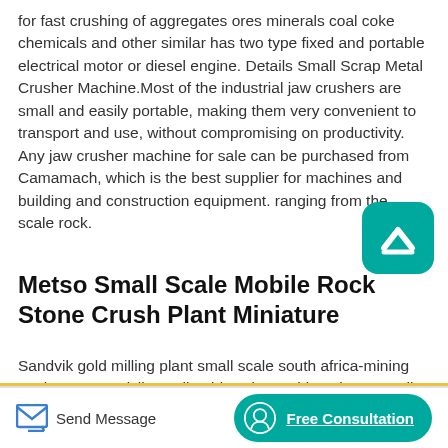for fast crushing of aggregates ores minerals coal coke chemicals and other similar has two type fixed and portable electrical motor or diesel engine. Details Small Scrap Metal Crusher Machine.Most of the industrial jaw crushers are small and easily portable, making them very convenient to transport and use, without compromising on productivity. Any jaw crusher machine for sale can be purchased from Camamach, which is the best supplier for machines and building and construction equipment. ranging from the small scale rock.
Metso Small Scale Mobile Rock Stone Crush Plant Miniature
Sandvik gold milling plant small scale south africa-mining equiments Sandvik small gold scale crushing plant . small gold machine plant. Small scale gold machine plant to